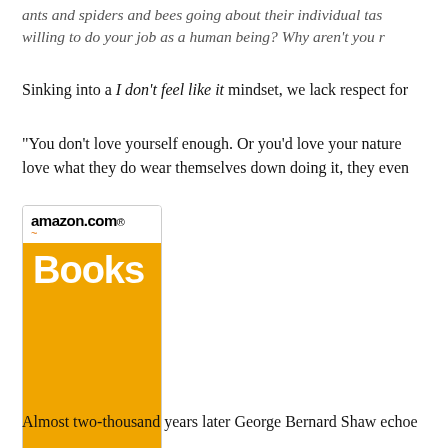ants and spiders and bees going about their individual tas... willing to do your job as a human being? Why aren't you r...
Sinking into a I don't feel like it mindset, we lack respect for ...
“You don’t love yourself enough. Or you’d love your nature... love what they do wear themselves down doing it, they even...
[Figure (advertisement): Amazon.com Books advertisement banner with orange background and 'Click here' button and Privacy Information link]
Almost two-thousand years later George Bernard Shaw echoe...